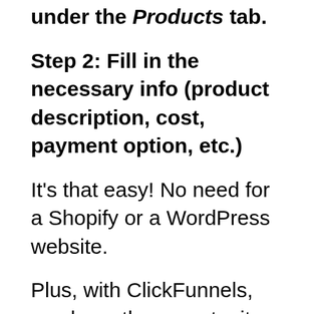under the Products tab.
Step 2: Fill in the necessary info (product description, cost, payment option, etc.)
It's that easy! No need for a Shopify or a WordPress website.
Plus, with ClickFunnels, you have the opportunity to add either a digital or physical product.